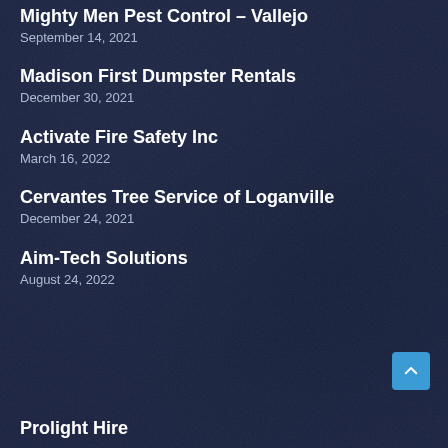Mighty Men Pest Control – Vallejo
September 14, 2021
Madison First Dumpster Rentals
December 30, 2021
Activate Fire Safety Inc
March 16, 2022
Cervantes Tree Service of Loganville
December 24, 2021
Aim-Tech Solutions
August 24, 2022
Prolight Hire